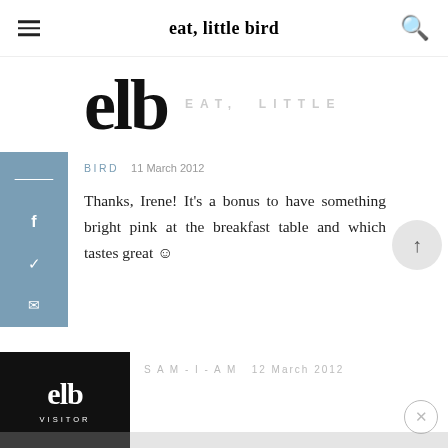eat, little bird
[Figure (logo): elb logo mark in large bold serif text, and EAT, LITTLE in spaced caps beside it]
BIRD   11 March 2012
Thanks, Irene! It's a bonus to have something bright pink at the breakfast table and which tastes great 🙂
REPLY
[Figure (logo): Black square with white elb logo and VISITOR text below]
S A M - I - A M   12 March 2012